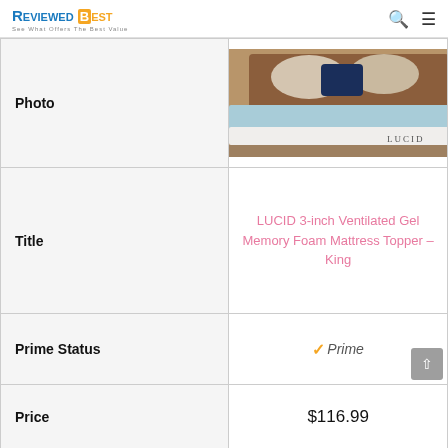ReviewedBest - See What Offers The Best Value
|  |  |
| --- | --- |
| Photo | [Product image of LUCID mattress topper on bed] |
| Title | LUCID 3-inch Ventilated Gel Memory Foam Mattress Topper – King |
| Prime Status | ✓Prime |
| Price | $116.99 |